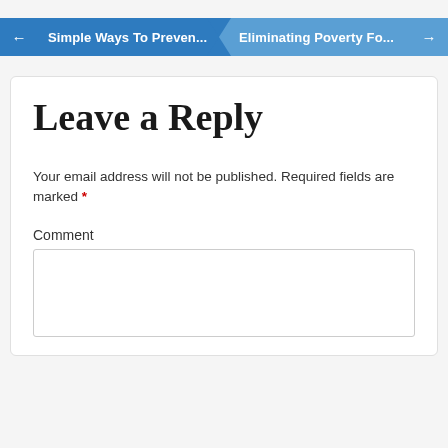← Simple Ways To Preven... | Eliminating Poverty Fo... →
Leave a Reply
Your email address will not be published. Required fields are marked *
Comment